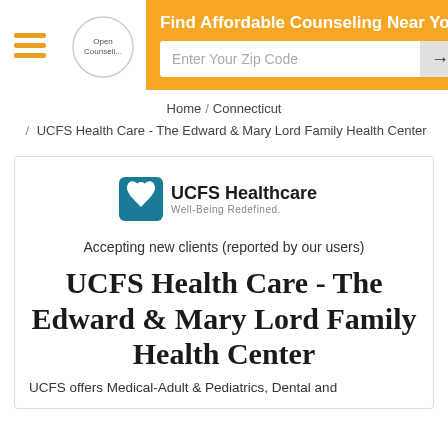Find Affordable Counseling Near You | Enter Your Zip Code
Home / Connecticut / UCFS Health Care - The Edward & Mary Lord Family Health Center
[Figure (logo): UCFS Healthcare Well-Being Redefined logo with teal shield icon]
Accepting new clients (reported by our users)
UCFS Health Care - The Edward & Mary Lord Family Health Center
UCFS offers Medical-Adult & Pediatrics, Dental and